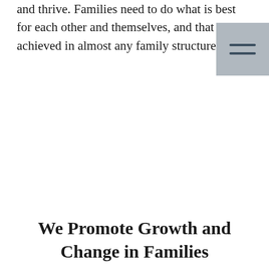and thrive. Families need to do what is best for each other and themselves, and that can be achieved in almost any family structure.
[Figure (other): Hamburger menu icon — two horizontal dark lines on a grey square background]
We Promote Growth and Change in Families